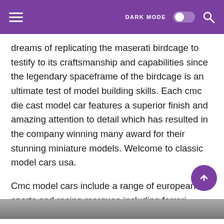DARK MODE [toggle] [search icon]
dreams of replicating the maserati birdcage to testify to its craftsmanship and capabilities since the legendary spaceframe of the birdcage is an ultimate test of model building skills. Each cmc die cast model car features a superior finish and amazing attention to detail which has resulted in the company winning many award for their stunning miniature models. Welcome to classic model cars usa.
Cmc model cars include a range of european sports and racing marques including ferrari mercedes benz alfa romeo aston martin audi bugatti. Find on more than 100 pages the fascinating world of cmc classic model cars. It does not imply that the cmc scale model is a product of any of.
[Figure (photo): Bottom strip showing the beginning of a photo, partially visible at the bottom of the page.]